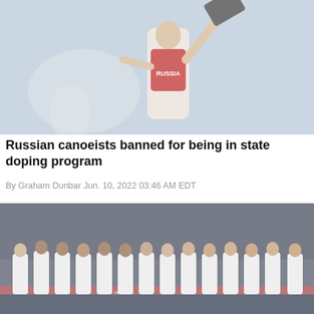[Figure (photo): A Russian canoeist wearing a red RUSSIA jersey raises a paddle or board overhead in celebration, with a blurred figure in background and light blue sky.]
Russian canoeists banned for being in state doping program
By Graham Dunbar Jun. 10, 2022 03:46 AM EDT
[Figure (photo): A row of athletes in white uniforms standing on a podium with medals, at what appears to be an Olympic ceremony with red branding visible in the background.]